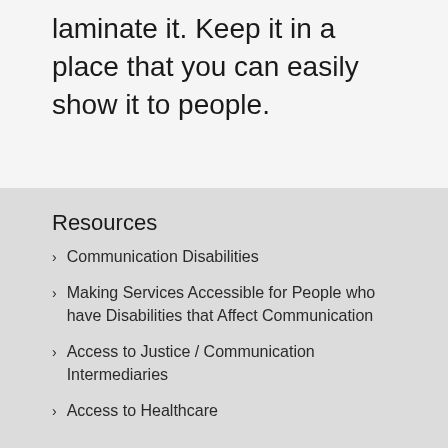laminate it. Keep it in a place that you can easily show it to people.
Resources
Communication Disabilities
Making Services Accessible for People who have Disabilities that Affect Communication
Access to Justice / Communication Intermediaries
Access to Healthcare